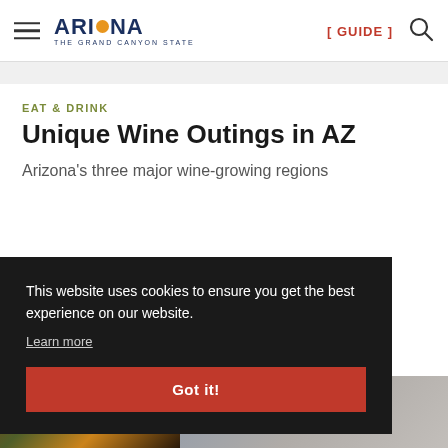ARIZONA THE GRAND CANYON STATE | [ GUIDE ]
EAT & DRINK
Unique Wine Outings in AZ
Arizona's three major wine-growing regions
This website uses cookies to ensure you get the best experience on our website.
Learn more
Got it!
[Figure (photo): Food/wine imagery at bottom of page, partially visible]